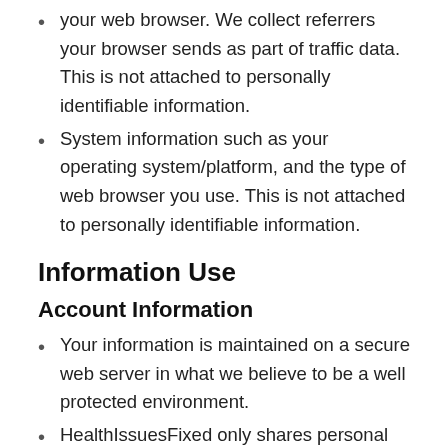your web browser. We collect referrers your browser sends as part of traffic data. This is not attached to personally identifiable information.
System information such as your operating system/platform, and the type of web browser you use. This is not attached to personally identifiable information.
Information Use
Account Information
Your information is maintained on a secure web server in what we believe to be a well protected environment.
HealthIssuesFixed only shares personal information to billing companies for completing transactions and for no other purpose. No other information is shared